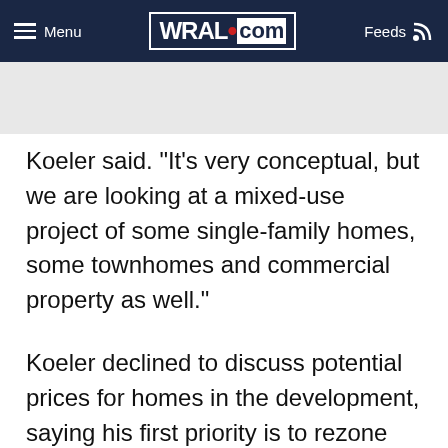Menu | WRAL.com | Feeds
Koeler said. "It's very conceptual, but we are looking at a mixed-use project of some single-family homes, some townhomes and commercial property as well."
Koeler declined to discuss potential prices for homes in the development, saying his first priority is to rezone the property. But nearby waterfront homes have fetched prices in excess of $1 million.